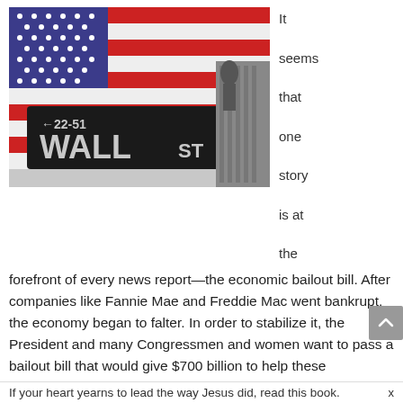[Figure (photo): Wall Street street sign with an American flag in the background and a blurred figure near a building]
It seems that one story is at the forefront of every news report—the economic bailout bill. After companies like Fannie Mae and Freddie Mac went bankrupt, the economy began to falter. In order to stabilize it, the President and many Congressmen and women want to pass a bailout bill that would give $700 billion to help these companies, Wall Street, and the economy recover.
Whether you believe the bailout bill should be passed or not, one thing is for sure: our country is facing tough times financially. From property values
If your heart yearns to lead the way Jesus did, read this book.